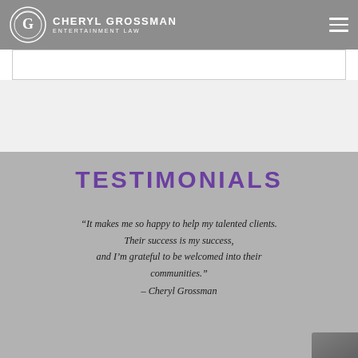CHERYL GROSSMAN ENTERTAINMENT LAW
TESTIMONIALS
“It makes me so happy to help my talented clients. Their success is my success, and I’m grateful to be welcomed into their communities.” – Cheryl Grossman